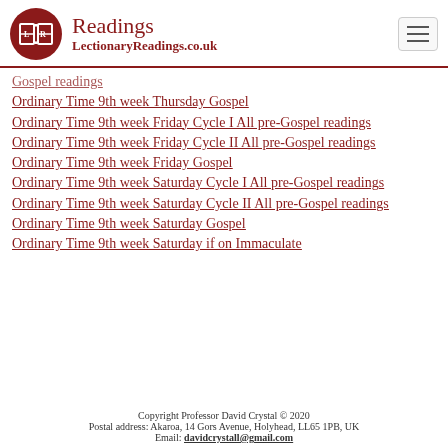Readings — LectionaryReadings.co.uk
Gospel readings
Ordinary Time 9th week Thursday Gospel
Ordinary Time 9th week Friday Cycle I All pre-Gospel readings
Ordinary Time 9th week Friday Cycle II All pre-Gospel readings
Ordinary Time 9th week Friday Gospel
Ordinary Time 9th week Saturday Cycle I All pre-Gospel readings
Ordinary Time 9th week Saturday Cycle II All pre-Gospel readings
Ordinary Time 9th week Saturday Gospel
Ordinary Time 9th week Saturday if on Immaculate
Copyright Professor David Crystal © 2020
Postal address: Akaroa, 14 Gors Avenue, Holyhead, LL65 1PB, UK
Email: davidcrystall@gmail.com